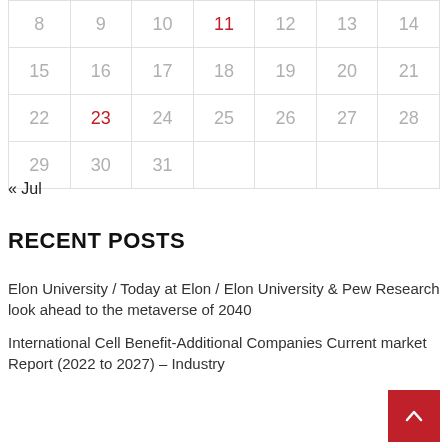|  |  |  |  |  |  |  |
| --- | --- | --- | --- | --- | --- | --- |
| 8 | 9 | 10 | 11 | 12 | 13 | 14 |
| 15 | 16 | 17 | 18 | 19 | 20 | 21 |
| 22 | 23 | 24 | 25 | 26 | 27 | 28 |
| 29 | 30 | 31 |  |  |  |  |
« Jul
RECENT POSTS
Elon University / Today at Elon / Elon University & Pew Research look ahead to the metaverse of 2040
International Cell Benefit-Additional Companies Current market Report (2022 to 2027) – Industry